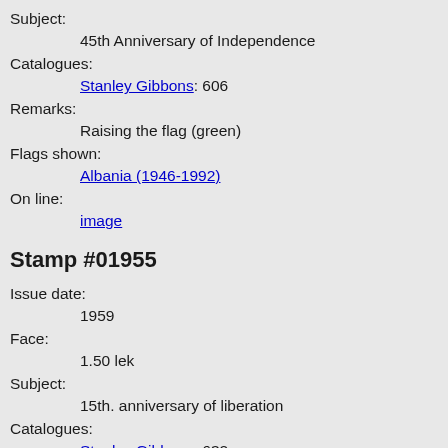Subject:
45th Anniversary of Independence
Catalogues:
Stanley Gibbons: 606
Remarks:
Raising the flag (green)
Flags shown:
Albania (1946-1992)
On line:
image
Stamp #01955
Issue date:
1959
Face:
1.50 lek
Subject:
15th. anniversary of liberation
Catalogues:
Stanley Gibbons: 632
Remarks:
Soldier
Flags shown:
Albania (1946-1992)